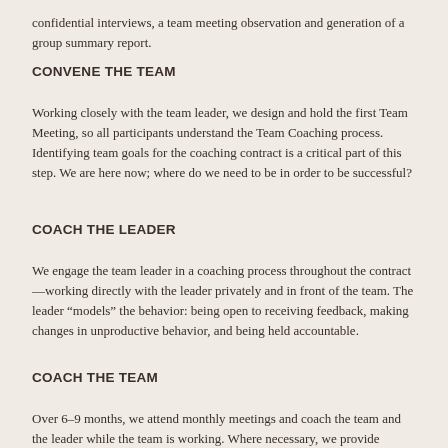confidential interviews, a team meeting observation and generation of a group summary report.
CONVENE THE TEAM
Working closely with the team leader, we design and hold the first Team Meeting, so all participants understand the Team Coaching process. Identifying team goals for the coaching contract is a critical part of this step. We are here now; where do we need to be in order to be successful?
COACH THE LEADER
We engage the team leader in a coaching process throughout the contract—working directly with the leader privately and in front of the team. The leader “models” the behavior: being open to receiving feedback, making changes in unproductive behavior, and being held accountable.
COACH THE TEAM
Over 6–9 months, we attend monthly meetings and coach the team and the leader while the team is working. Where necessary, we provide current theory, skill training, and coaching in Team Charte...